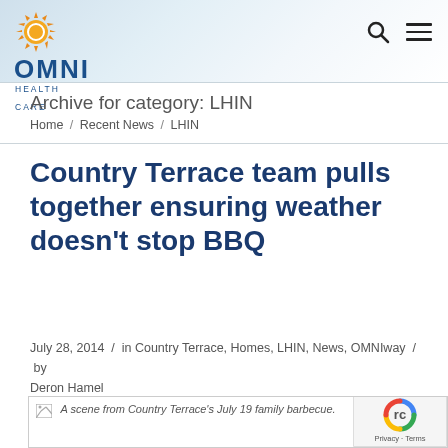[Figure (logo): OMNI Health Care logo with orange sun icon and blue OMNI HEALTH CARE text]
Archive for category: LHIN
Home / Recent News / LHIN
Country Terrace team pulls together ensuring weather doesn't stop BBQ
July 28, 2014 / in Country Terrace, Homes, LHIN, News, OMNIway / by Deron Hamel
[Figure (photo): A scene from Country Terrace's July 19 family barbecue.]
A scene from Country Terrace's July 19 family barbecue.